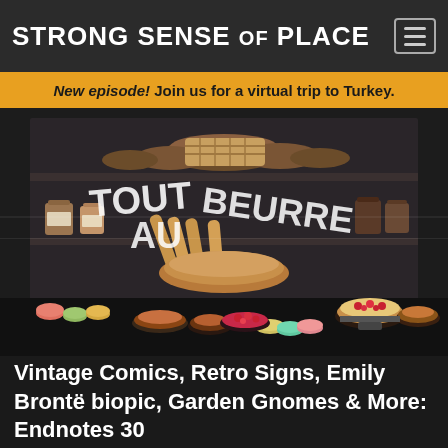STRONG SENSE OF PLACE
New episode! Join us for a virtual trip to Turkey.
[Figure (photo): A French bakery display case filled with pastries, bread loaves, macarons, and tarts. Large decorative letters on the glass reading 'TOUT AU BEURRE'.]
Vintage Comics, Retro Signs, Emily Brontë biopic, Garden Gnomes & More: Endnotes 30